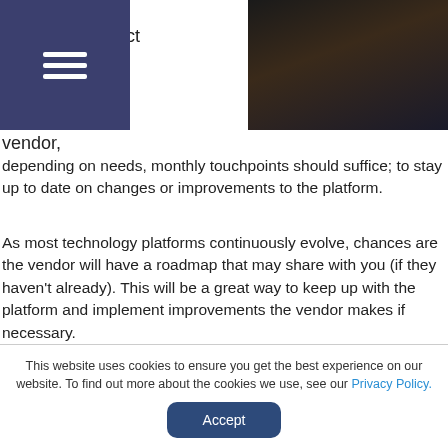[Figure (photo): Dark photo of a person's hand, partially visible, against a dark background]
continue to s… contact w… vendor, depending on needs, monthly touchpoints should suffice; to stay up to date on changes or improvements to the platform.
As most technology platforms continuously evolve, chances are the vendor will have a roadmap that may share with you (if they haven't already). This will be a great way to keep up with the platform and implement improvements the vendor makes if necessary.
Depending on the platform chosen, they may even host an
This website uses cookies to ensure you get the best experience on our website. To find out more about the cookies we use, see our Privacy Policy.
Accept